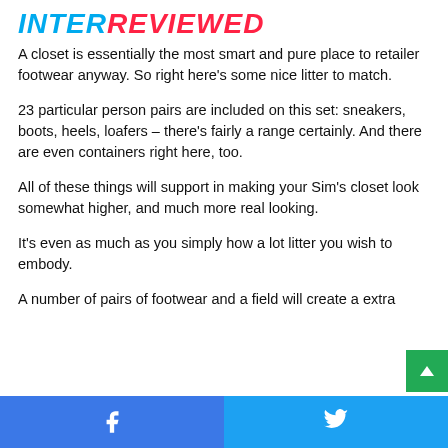INTERREVIEWED
A closet is essentially the most smart and pure place to retailer footwear anyway. So right here's some nice litter to match.
23 particular person pairs are included on this set: sneakers, boots, heels, loafers – there's fairly a range certainly. And there are even containers right here, too.
All of these things will support in making your Sim's closet look somewhat higher, and much more real looking.
It's even as much as you simply how a lot litter you wish to embody.
A number of pairs of footwear and a field will create a extra
Facebook Twitter